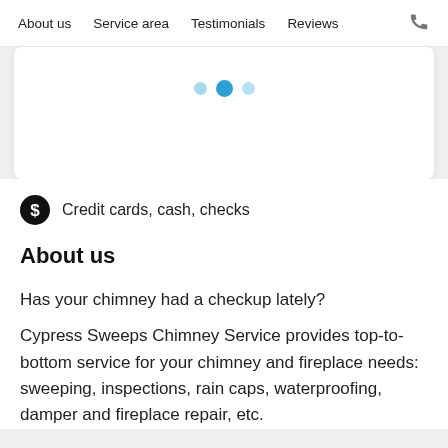About us   Service area   Testimonials   Reviews
[Figure (other): Carousel pagination dots: three dots in a row, middle dot is larger and darker blue (active), flanking dots are smaller and lighter blue.]
Credit cards, cash, checks
About us
Has your chimney had a checkup lately?
Cypress Sweeps Chimney Service provides top-to-bottom service for your chimney and fireplace needs: sweeping, inspections, rain caps, waterproofing, damper and fireplace repair, etc.